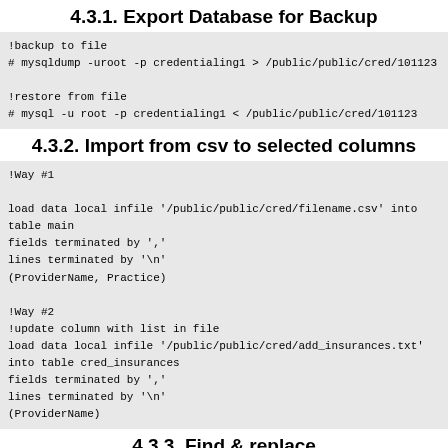4.3.1. Export Database for Backup
!backup to file
# mysqldump -uroot -p credentialing1 > /public/public/cred/101123

!restore from file
# mysql -u root -p credentialing1 < /public/public/cred/101123
4.3.2. Import from csv to selected columns
!Way #1

load data local infile '/public/public/cred/filename.csv' into table main
fields terminated by ','
lines terminated by '\n'
(ProviderName, Practice)

!Way #2
!update column with list in file
load data local infile '/public/public/cred/add_insurances.txt' into table cred_insurances
fields terminated by ','
lines terminated by '\n'
(ProviderName)
4.3.3. Find & replace
UPDATE `main` SET ProviderName = replace(ProviderName," (Tenncare)","")
That command replaced all instances of “ (Tenncare)” and blanks it in column “ProviderName” of table “main”
5. Citrix Xenserver